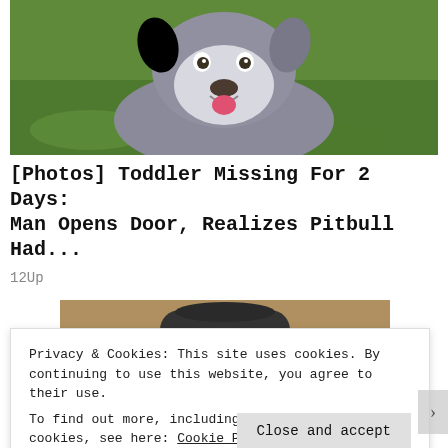[Figure (photo): A pitbull dog standing on grass, looking at the camera, mouth open, outdoors on a green lawn.]
[Photos] Toddler Missing For 2 Days: Man Opens Door, Realizes Pitbull Had...
12Up
[Figure (photo): A golden/tan dog or cat wearing a large black cowboy hat.]
Privacy & Cookies: This site uses cookies. By continuing to use this website, you agree to their use.
To find out more, including how to control cookies, see here: Cookie Policy
Close and accept